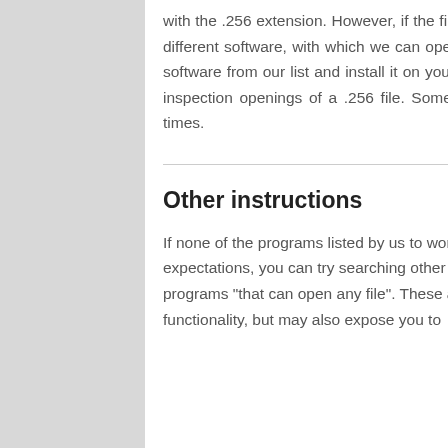with the .256 extension. However, if the file has not opened correctly, we have to look for a different software, with which we can open files with the .256 extension. Select a different software from our list and install it on your computer. After the software is installed, repeat inspection openings of a .256 file. Sometimes you have to repeat the operation several times.
Other instructions
If none of the programs listed by us to work with the .256 file has not meet your expectations, you can try searching other websites. But remember to avoid downloading programs "that can open any file". These applications not only have very limited functionality, but may also expose you to